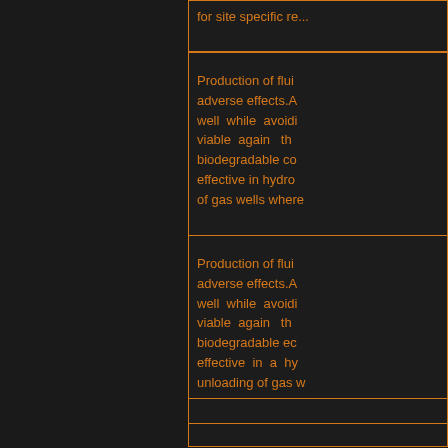for site specific re...
Production of flui... adverse effects.A... well while avoidi... viable again th... biodegradable co... effective in hydro... of gas wells where...
Production of flui... adverse effects.A... well while avoidi... viable again th... biodegradable ec... effective in a hy... unloading of gas w...